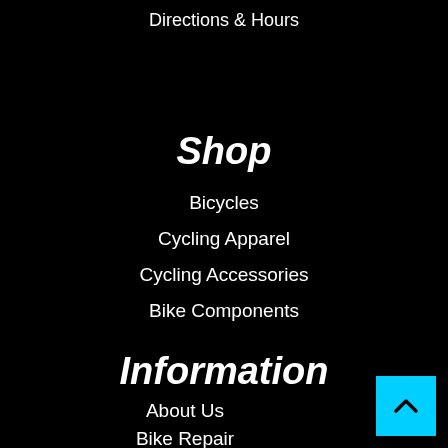Directions & Hours
Shop
Bicycles
Cycling Apparel
Cycling Accessories
Bike Components
Information
About Us
Bike Repair
Bike Rentals
Our Location